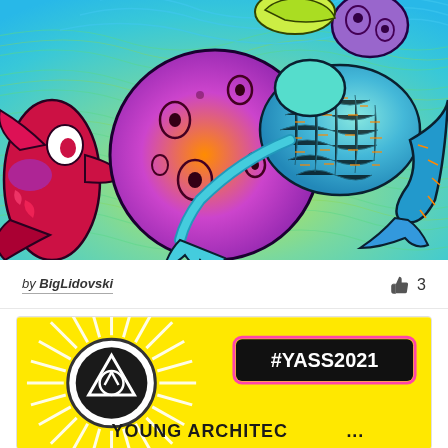[Figure (illustration): Colorful psychedelic illustration with alien creatures — a large orange-to-purple round creature being hugged by a teal sea-creature, with a red bird-like figure on the left, against a swirling teal-to-yellow-green wavy background.]
by BigLidovski
3
[Figure (illustration): Yellow banner graphic with sunburst rays. Contains a black circular logo with a triangle/arrow symbol. Text reads '#YASS2021' in a black pill-shaped badge with hot pink border. Bottom text reads 'YOUNG ARCHITEC...' (partially visible).]